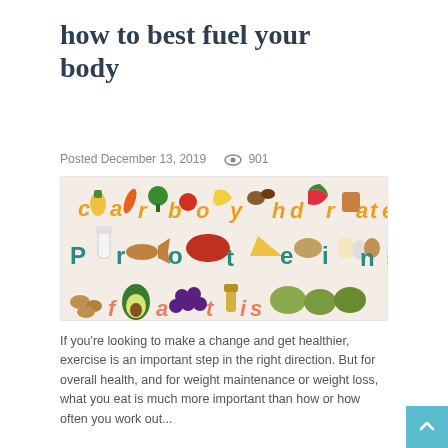how to best fuel your body
Posted December 13, 2019   901
[Figure (photo): Colorful food illustration showing carbohydrates, proteins, and fats with real food photos arranged as letters spelling out the words]
If you're looking to make a change and get healthier, exercise is an important step in the right direction. But for overall health, and for weight maintenance or weight loss, what you eat is much more important than how or how often you work out...